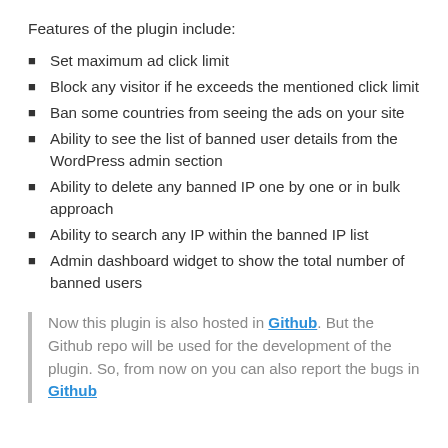Features of the plugin include:
Set maximum ad click limit
Block any visitor if he exceeds the mentioned click limit
Ban some countries from seeing the ads on your site
Ability to see the list of banned user details from the WordPress admin section
Ability to delete any banned IP one by one or in bulk approach
Ability to search any IP within the banned IP list
Admin dashboard widget to show the total number of banned users
Now this plugin is also hosted in Github. But the Github repo will be used for the development of the plugin. So, from now on you can also report the bugs in Github